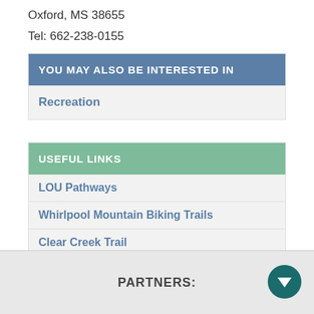Oxford, MS 38655
Tel: 662-238-0155
YOU MAY ALSO BE INTERESTED IN
Recreation
USEFUL LINKS
LOU Pathways
Whirlpool Mountain Biking Trails
Clear Creek Trail
Oxford Bike Shop
PARTNERS: